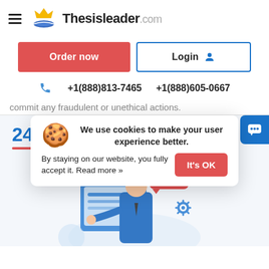ThesisLeader.com
Order now
Login
+1(888)813-7465   +1(888)605-0667
commit any fraudulent or unethical actions.
We use cookies to make your user experience better. By staying on our website, you fully accept it. Read more »
It's OK
24/7
[Figure (illustration): Customer support representative illustration with chat bubble, gear icons, and computer screen]